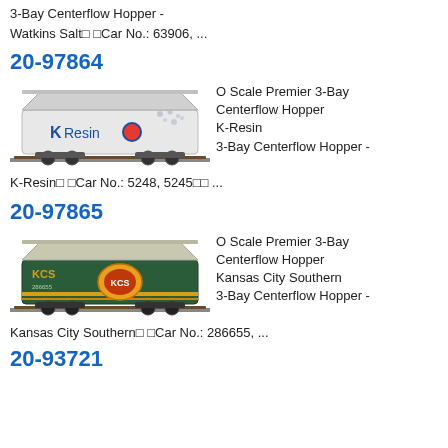3-Bay Centerflow Hopper - Watkins Salt· ·Car No.: 63906, ...
20-97864
[Figure (photo): O Scale model train hopper car with K-Resin branding, white with blue lettering and dot pattern]
O Scale Premier 3-Bay Centerflow Hopper K-Resin 3-Bay Centerflow Hopper - K-Resin· ·Car No.: 5248, 5245·· ...
20-97865
[Figure (photo): O Scale model train hopper car with Kansas City Southern branding, dark green with KCS logo]
O Scale Premier 3-Bay Centerflow Hopper Kansas City Southern 3-Bay Centerflow Hopper - Kansas City Southern· ·Car No.: 286655, ...
20-93721